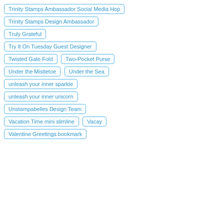Trinity Stamps Ambassador Social Media Hop
Trinity Stamps Design Ambassador
Truly Grateful
Try It On Tuesday Guest Designer
Twisted Gate Fold
Two-Pocket Purse
Under the Mistletoe
Under the Sea
unleash your inner sparkle
unleash your inner unicorn
Unstampabelles Design Team
Vacation Time mini slimline
Vacay
Valentine Greetings bookmark